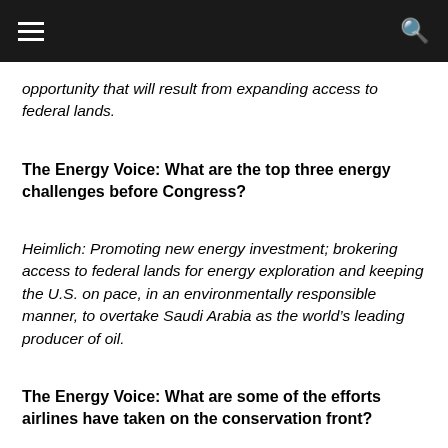≡  🔍
opportunity that will result from expanding access to federal lands.
The Energy Voice: What are the top three energy challenges before Congress?
Heimlich: Promoting new energy investment; brokering access to federal lands for energy exploration and keeping the U.S. on pace, in an environmentally responsible manner, to overtake Saudi Arabia as the world's leading producer of oil.
The Energy Voice: What are some of the efforts airlines have taken on the conservation front?
Heimlich: Investing billions in replacing aircraft with more